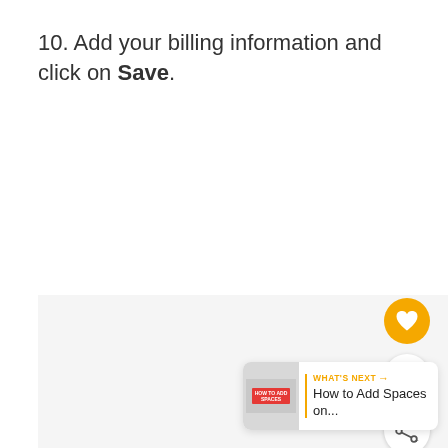10. Add your billing information and click on Save.
[Figure (screenshot): UI overlay showing a heart/like button (gold circle with white heart icon), a count of 1, a share button (white circle with share icon), and a 'What's Next' card showing 'How to Add Spaces on...' with a small thumbnail and gold arrow.]